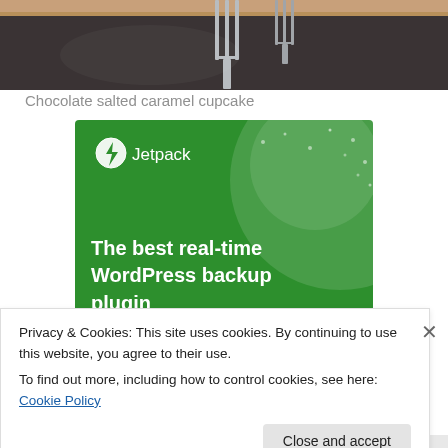[Figure (photo): Top portion of a photo showing a dark plate with a fork visible, on a wooden surface — appears to be a food/dessert photo cropped at the top.]
Chocolate salted caramel cupcake
[Figure (illustration): Jetpack advertisement banner with green background, featuring the Jetpack logo (lightning bolt icon) and text: 'The best real-time WordPress backup plugin']
Privacy & Cookies: This site uses cookies. By continuing to use this website, you agree to their use.
To find out more, including how to control cookies, see here: Cookie Policy
Close and accept